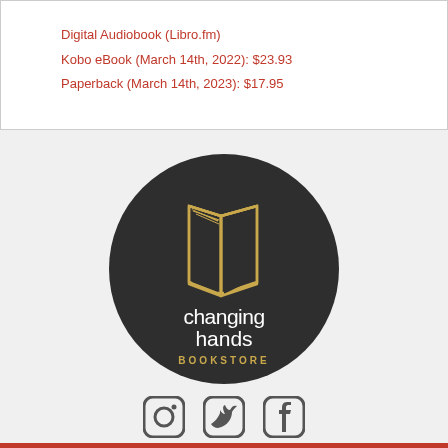Digital Audiobook (Libro.fm)
Kobo eBook (March 14th, 2022): $23.93
Paperback (March 14th, 2023): $17.95
[Figure (logo): Changing Hands Bookstore logo — dark circular badge with gold open book icon and white text 'changing hands BOOKSTORE']
[Figure (other): Three social media icons: Instagram, Twitter, Facebook]